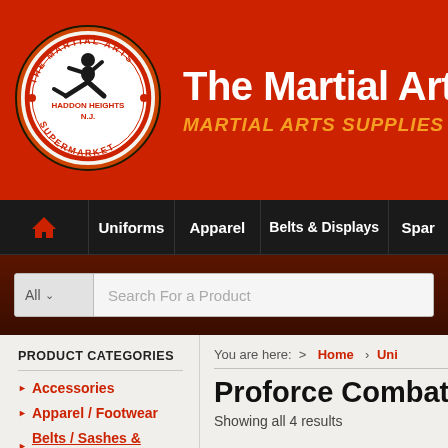[Figure (logo): The Martial Arts Supermarket circular logo with a martial artist figure, orange and black border, text 'HADDON HEIGHTS N.J. SUPERMARKET']
The Martial Arts Supe
MARTIAL ARTS SUPPLIES
Home | Uniforms | Apparel | Belts & Displays | Spar
Search For a Product
PRODUCT CATEGORIES
Accessories
Apparel / Footwear
Belts / Sashes & Displays
You are here: > Home › Uni
Proforce Combat
Showing all 4 results